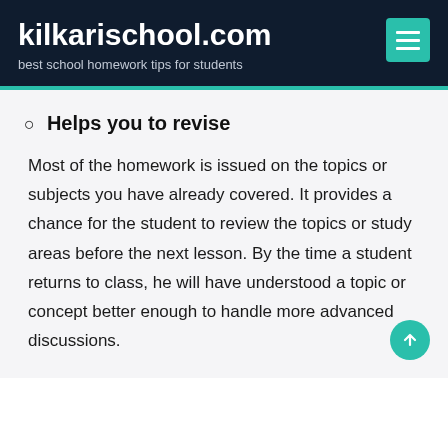kilkarischool.com
best school homework tips for students
Helps you to revise
Most of the homework is issued on the topics or subjects you have already covered. It provides a chance for the student to review the topics or study areas before the next lesson. By the time a student returns to class, he will have understood a topic or concept better enough to handle more advanced discussions.